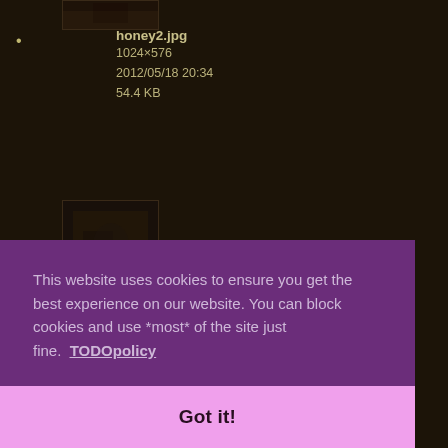[Figure (screenshot): Partial thumbnail image of honey2.jpg, dark scene, partially cropped at top of page]
honey2.jpg
1024×576
2012/05/18 20:34
54.4 KB
[Figure (screenshot): Thumbnail image of honey3.jpg, dark scene with person and objects]
honey3.jpg
1024×576
This website uses cookies to ensure you get the best experience on our website. You can block cookies and use *most* of the site just fine.  TODOpolicy
Got it!